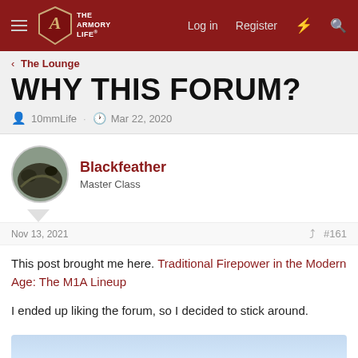The Armory Life — Log in  Register
The Lounge
WHY THIS FORUM?
10mmLife · Mar 22, 2020
Blackfeather
Master Class
Nov 13, 2021  #161
This post brought me here. Traditional Firepower in the Modern Age: The M1A Lineup

I ended up liking the forum, so I decided to stick around.
[Figure (photo): Partial image preview at bottom of page, light blue gradient background suggesting a photograph]